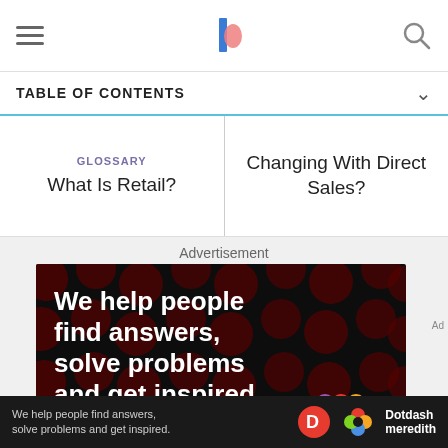Navigation bar with hamburger menu, site logo, and search icon
TABLE OF CONTENTS
GLOSSARY
What Is Retail?
Changing With Direct Sales?
Advertisement
[Figure (infographic): Dark advertisement banner with dark red polka dot circles background pattern, white bold text reading 'We help people find answers, solve problems and get inspired.' with a red period, 'LEARN MORE' with arrow, and Dotdash Meredith logos in bottom right]
We help people find answers, solve problems and get inspired.
Dotdash meredith